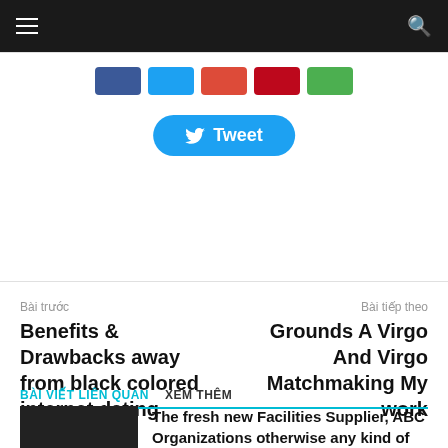Navigation bar with menu and search icons
[Figure (screenshot): Social sharing buttons (Facebook, Twitter, Google+, Pinterest, Google) and a Tweet button on white background]
Bài trước
Benefits & Drawbacks away from black colored internet dating software
Bài tiếp theo
Grounds A Virgo And Virgo Matchmaking My work
BÀI VIẾT LIÊN QUAN    XEM THÊM
Chưa được phân loại
The fresh new Facilities Supplier, ABC Organizations otherwise any kind of the 3rd party services and you may processor chip lender/resellers etc